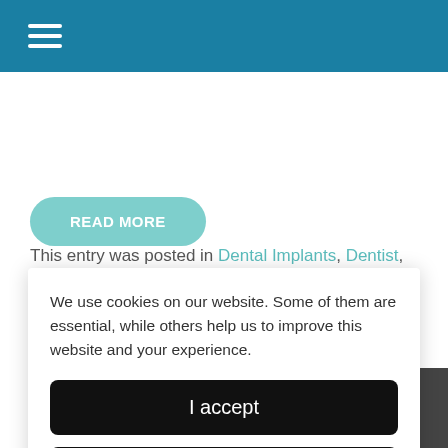≡ (navigation bar)
damage became worse. Therefore, a team of medical and dental specialists at the ...
READ MORE
This entry was posted in Dental Implants, Dentist, Dentistry, Emergency Dentist, Emergency Dentistry,
We use cookies on our website. Some of them are essential, while others help us to improve this website and your experience.
I accept
Accept only essential cookies
Individual Privacy Preferences